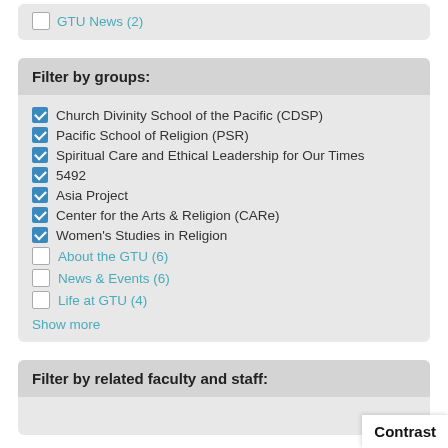GTU News (2)
Filter by groups:
Church Divinity School of the Pacific (CDSP)
Pacific School of Religion (PSR)
Spiritual Care and Ethical Leadership for Our Times
5492
Asia Project
Center for the Arts & Religion (CARe)
Women's Studies in Religion
About the GTU (6)
News & Events (6)
Life at GTU (4)
Show more
Filter by related faculty and staff:
Contrast